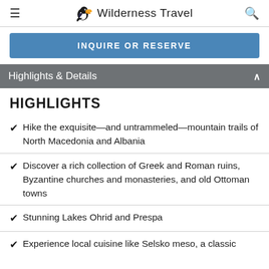≡  Wilderness Travel  🔍
INQUIRE OR RESERVE
Highlights & Details
HIGHLIGHTS
Hike the exquisite—and untrammeled—mountain trails of North Macedonia and Albania
Discover a rich collection of Greek and Roman ruins, Byzantine churches and monasteries, and old Ottoman towns
Stunning Lakes Ohrid and Prespa
Experience local cuisine like Selsko meso, a classic